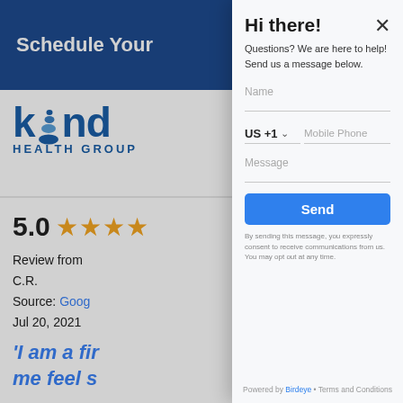Schedule Your
[Figure (logo): Kind Health Group logo — blue letters 'kind' with stacked stone/pebble icon replacing the 'i', and 'HEALTH GROUP' below]
5.0 ★★★★
Review from
C.R.
Source: Google
Jul 20, 2021
'I am a fir
me feel s
Hi there!
Questions? We are here to help! Send us a message below.
Name
US +1    Mobile Phone
Message
Send
By sending this message, you expressly consent to receive communications from us. You may opt out at any time.
Powered by Birdeye • Terms and Conditions